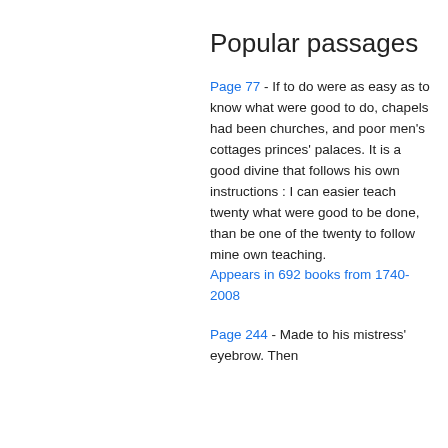Popular passages
Page 77 - If to do were as easy as to know what were good to do, chapels had been churches, and poor men's cottages princes' palaces. It is a good divine that follows his own instructions : I can easier teach twenty what were good to be done, than be one of the twenty to follow mine own teaching.
Appears in 692 books from 1740-2008
Page 244 - Made to his mistress' eyebrow. Then